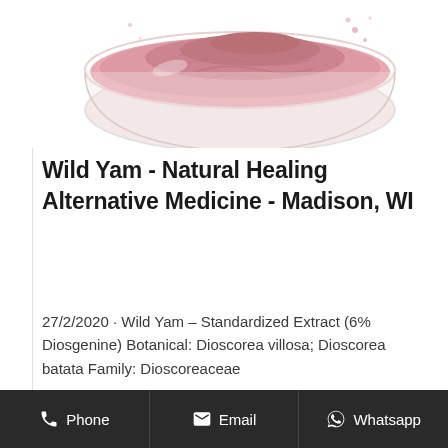[Figure (photo): A glass bowl containing pink/rose-colored powder (Wild Yam extract), photographed from above against a white background.]
Wild Yam - Natural Healing Alternative Medicine - Madison, WI
27/2/2020 · Wild Yam – Standardized Extract (6% Diosgenine) Botanical: Dioscorea villosa; Dioscorea batata Family: Dioscoreaceae
Phone   Email   Whatsapp